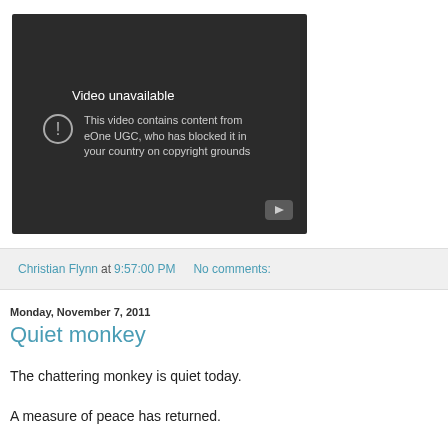[Figure (screenshot): Embedded YouTube video player showing 'Video unavailable' message. Text reads: 'Video unavailable. This video contains content from eOne UGC, who has blocked it in your country on copyright grounds'. A play button icon is visible at the bottom right of the player.]
Christian Flynn at 9:57:00 PM   No comments:
Monday, November 7, 2011
Quiet monkey
The chattering monkey is quiet today.
A measure of peace has returned.